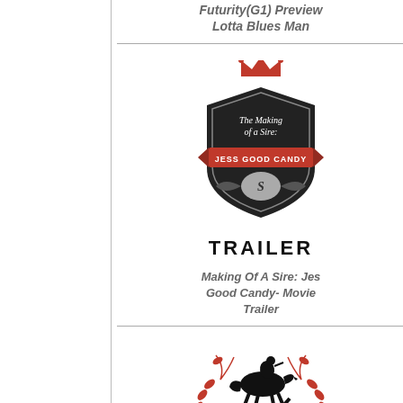Futurity(G1) Preview
Lotta Blues Man
[Figure (logo): The Making of a Sire: Jess Good Candy badge logo with crown and shield design, red and dark colors]
TRAILER
Making Of A Sire: Jess Good Candy- Movie Trailer
[Figure (logo): Texas Classic Lone Star Park at Grand Prairie logo with horse and rider silhouette, laurel wreath, and blue ribbon]